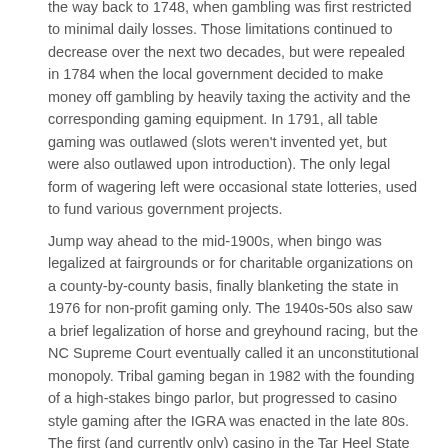the way back to 1748, when gambling was first restricted to minimal daily losses. Those limitations continued to decrease over the next two decades, but were repealed in 1784 when the local government decided to make money off gambling by heavily taxing the activity and the corresponding gaming equipment. In 1791, all table gaming was outlawed (slots weren't invented yet, but were also outlawed upon introduction). The only legal form of wagering left were occasional state lotteries, used to fund various government projects.
Jump way ahead to the mid-1900s, when bingo was legalized at fairgrounds or for charitable organizations on a county-by-county basis, finally blanketing the state in 1976 for non-profit gaming only. The 1940s-50s also saw a brief legalization of horse and greyhound racing, but the NC Supreme Court eventually called it an unconstitutional monopoly. Tribal gaming began in 1982 with the founding of a high-stakes bingo parlor, but progressed to casino style gaming after the IGRA was enacted in the late 80s. The first (and currently only) casino in the Tar Heel State was opened in Cherokee,